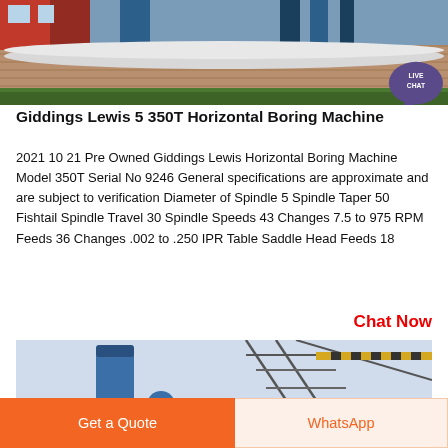[Figure (photo): Industrial machinery or building exterior with concrete walls, red/blue structure, and overgrown vegetation]
Giddings Lewis 5 350T Horizontal Boring Machine
2021 10 21 Pre Owned Giddings Lewis Horizontal Boring Machine Model 350T Serial No 9246 General specifications are approximate and are subject to verification Diameter of Spindle 5 Spindle Taper 50 Fishtail Spindle Travel 30 Spindle Speeds 43 Changes 7.5 to 975 RPM Feeds 36 Changes .002 to .250 IPR Table Saddle Head Feeds 18
Chat Now
[Figure (photo): Industrial machinery or plant with blue dust collector and metal framework structure against a sky background]
Get a Quote
WhatsApp